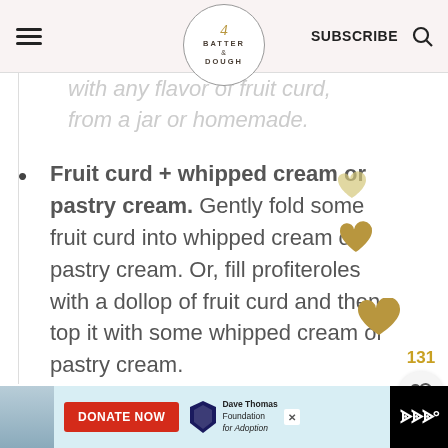BATTER & DOUGH | SUBSCRIBE
with any flavor of fruit curd, from a jar or homemade.
Fruit curd + whipped cream or pastry cream. Gently fold some fruit curd into whipped cream or pastry cream. Or, fill profiteroles with a dollop of fruit curd and then top it with some whipped cream or pastry cream.
[Figure (screenshot): Advertisement banner for Dave Thomas Foundation for Adoption with Donate Now button, young person photo, and WW logo]